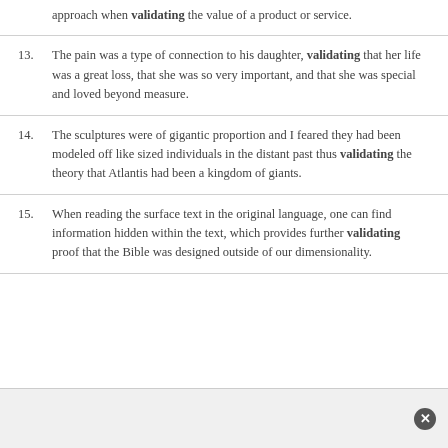approach when validating the value of a product or service.
13. The pain was a type of connection to his daughter, validating that her life was a great loss, that she was so very important, and that she was special and loved beyond measure.
14. The sculptures were of gigantic proportion and I feared they had been modeled off like sized individuals in the distant past thus validating the theory that Atlantis had been a kingdom of giants.
15. When reading the surface text in the original language, one can find information hidden within the text, which provides further validating proof that the Bible was designed outside of our dimensionality.